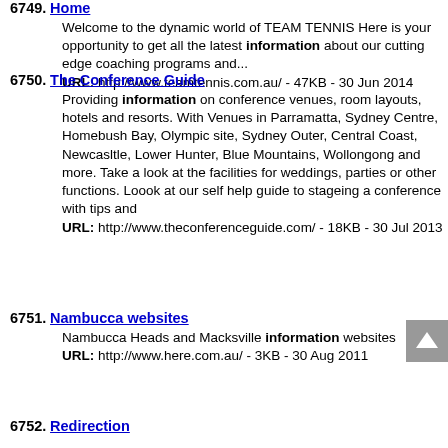6749. Home
Welcome to the dynamic world of TEAM TENNIS Here is your opportunity to get all the latest information about our cutting edge coaching programs and...
URL: http://www.teamtennis.com.au/ - 47KB - 30 Jun 2014
6750. The Conference Guide
Providing information on conference venues, room layouts, hotels and resorts. With Venues in Parramatta, Sydney Centre, Homebush Bay, Olympic site, Sydney Outer, Central Coast, Newcasltle, Lower Hunter, Blue Mountains, Wollongong and more. Take a look at the facilities for weddings, parties or other functions. Loook at our self help guide to stageing a conference with tips and
URL: http://www.theconferenceguide.com/ - 18KB - 30 Jul 2013
6751. Nambucca websites
Nambucca Heads and Macksville information websites
URL: http://www.here.com.au/ - 3KB - 30 Aug 2011
6752. Redirection